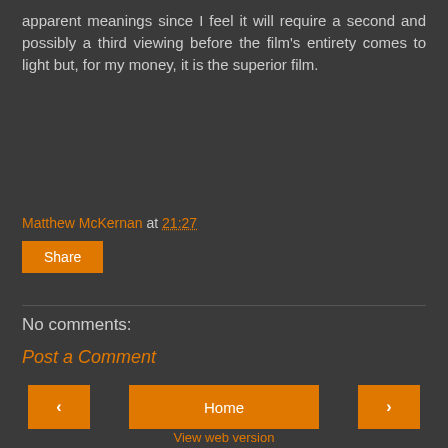apparent meanings since I feel it will require a second and possibly a third viewing before the film's entirety comes to light but, for my money, it is the superior film.
Matthew McKernan at 21:27
Share
No comments:
Post a Comment
‹
Home
›
View web version
Powered by Blogger.